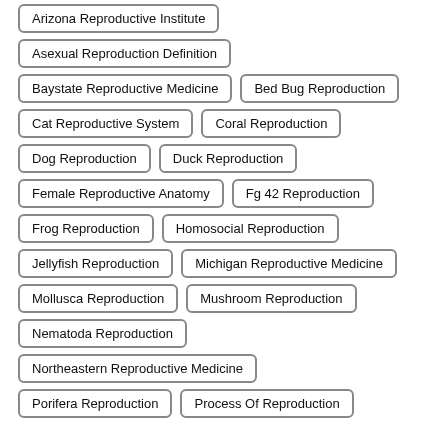Arizona Reproductive Institute
Asexual Reproduction Definition
Baystate Reproductive Medicine
Bed Bug Reproduction
Cat Reproductive System
Coral Reproduction
Dog Reproduction
Duck Reproduction
Female Reproductive Anatomy
Fg 42 Reproduction
Frog Reproduction
Homosocial Reproduction
Jellyfish Reproduction
Michigan Reproductive Medicine
Mollusca Reproduction
Mushroom Reproduction
Nematoda Reproduction
Northeastern Reproductive Medicine
Porifera Reproduction
Process Of Reproduction